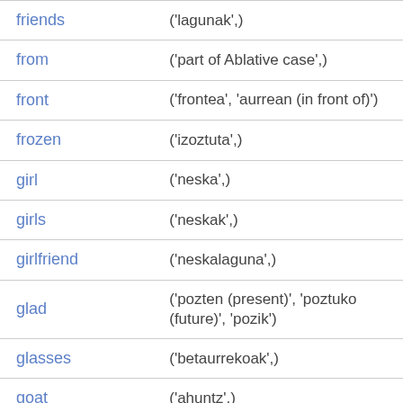| friends | ('lagunak',) |
| from | ('part of Ablative case',) |
| front | ('frontea', 'aurrean (in front of)') |
| frozen | ('izoztuta',) |
| girl | ('neska',) |
| girls | ('neskak',) |
| girlfriend | ('neskalaguna',) |
| glad | ('pozten (present)', 'poztuko (future)', 'pozik') |
| glasses | ('betaurrekoak',) |
| goat | ('ahuntz',) |
| goats | ('ahuntzak',) |